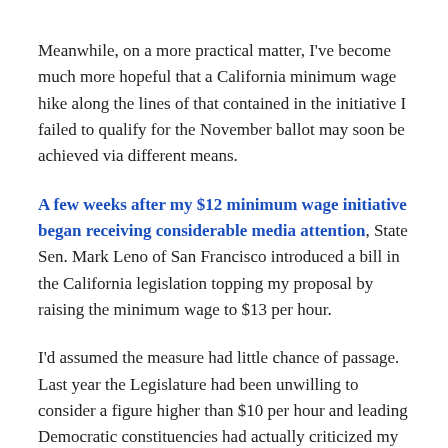Meanwhile, on a more practical matter, I've become much more hopeful that a California minimum wage hike along the lines of that contained in the initiative I failed to qualify for the November ballot may soon be achieved via different means.
A few weeks after my $12 minimum wage initiative began receiving considerable media attention, State Sen. Mark Leno of San Francisco introduced a bill in the California legislation topping my proposal by raising the minimum wage to $13 per hour.
I'd assumed the measure had little chance of passage. Last year the Legislature had been unwilling to consider a figure higher than $10 per hour and leading Democratic constituencies had actually criticized my initiative as